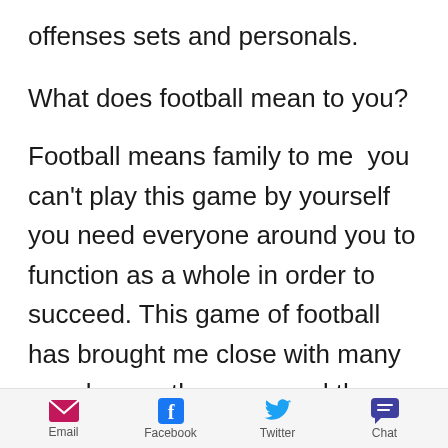offenses sets and personals.
What does football mean to you?
Football means family to me  you can't play this game by yourself you need everyone around you to function as a whole in order to succeed. This game of football has brought me close with many people over the years and those bonds will
Email  Facebook  Twitter  Chat